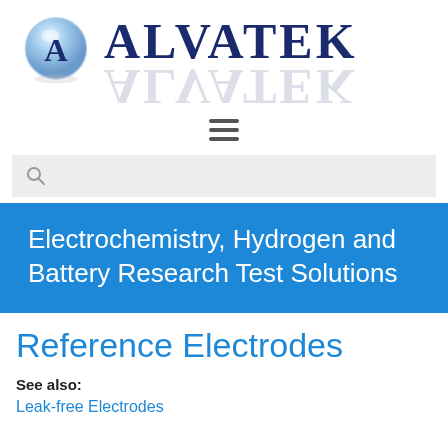[Figure (logo): Alvatek logo with a blue sphere containing the letter A and the text ALVATEK in dark navy blue with reflection below]
[Figure (other): Hamburger menu icon with three horizontal dark grey lines]
[Figure (other): Search bar with magnifying glass icon on light grey background]
Electrochemistry, Hydrogen and Battery Research Test Solutions
Reference Electrodes
See also:
Leak-free Electrodes